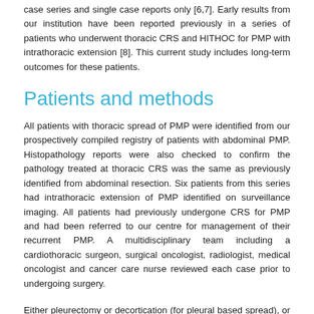case series and single case reports only [6,7]. Early results from our institution have been reported previously in a series of patients who underwent thoracic CRS and HITHOC for PMP with intrathoracic extension [8]. This current study includes long-term outcomes for these patients.
Patients and methods
All patients with thoracic spread of PMP were identified from our prospectively compiled registry of patients with abdominal PMP. Histopathology reports were also checked to confirm the pathology treated at thoracic CRS was the same as previously identified from abdominal resection. Six patients from this series had intrathoracic extension of PMP identified on surveillance imaging. All patients had previously undergone CRS for PMP and had been referred to our centre for management of their recurrent PMP. A multidisciplinary team including a cardiothoracic surgeon, surgical oncologist, radiologist, medical oncologist and cancer care nurse reviewed each case prior to undergoing surgery.
Either pleurectomy or decortication (for pleural based spread), or parenchymal anatomic resections of the affected lobe or lung (for intra-parenchymal disease) were performed by a cardiothoracic